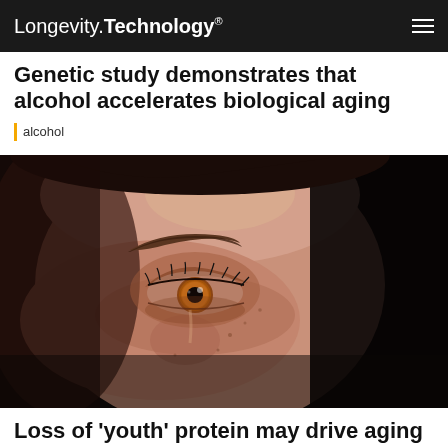Longevity.Technology®
Genetic study demonstrates that alcohol accelerates biological aging
alcohol
[Figure (photo): Close-up portrait photograph of a person's face against a dark background, with dramatic lighting illuminating the eye and skin. The person has brown eyes and visible freckles.]
Loss of 'youth' protein may drive aging in the eye